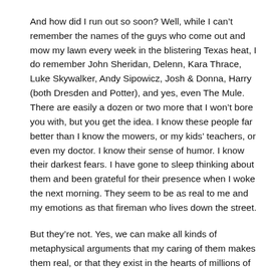run out.
And how did I run out so soon? Well, while I can't remember the names of the guys who come out and mow my lawn every week in the blistering Texas heat, I do remember John Sheridan, Delenn, Kara Thrace, Luke Skywalker, Andy Sipowicz, Josh & Donna, Harry (both Dresden and Potter), and yes, even The Mule. There are easily a dozen or two more that I won't bore you with, but you get the idea. I know these people far better than I know the mowers, or my kids' teachers, or even my doctor. I know their sense of humor. I know their darkest fears. I have gone to sleep thinking about them and been grateful for their presence when I woke the next morning. They seem to be as real to me and my emotions as that fireman who lives down the street.
But they're not. Yes, we can make all kinds of metaphysical arguments that my caring of them makes them real, or that they exist in the hearts of millions of fans, but the truth is that when my house is burning down, none of them are going to show up to help put out the fire.